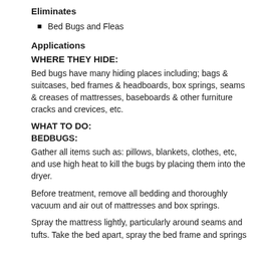Eliminates
Bed Bugs and Fleas
Applications
WHERE THEY HIDE:
Bed bugs have many hiding places including; bags & suitcases, bed frames & headboards, box springs, seams & creases of mattresses, baseboards & other furniture cracks and crevices, etc.
WHAT TO DO:
BEDBUGS:
Gather all items such as: pillows, blankets, clothes, etc, and use high heat to kill the bugs by placing them into the dryer.
Before treatment, remove all bedding and thoroughly vacuum and air out of mattresses and box springs.
Spray the mattress lightly, particularly around seams and tufts. Take the bed apart, spray the bed frame and springs